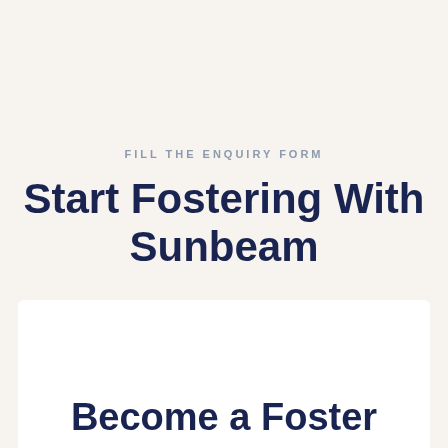FILL THE ENQUIRY FORM
Start Fostering With Sunbeam
Become a Foster